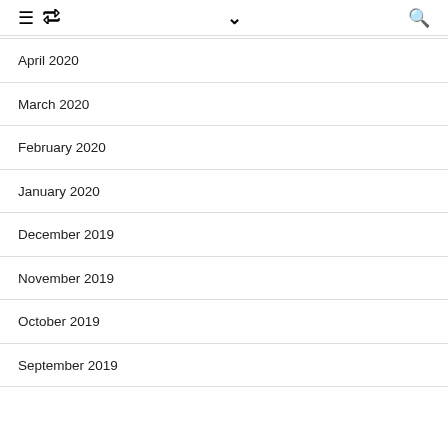≡ ↺ ∨ 🔍
April 2020
March 2020
February 2020
January 2020
December 2019
November 2019
October 2019
September 2019